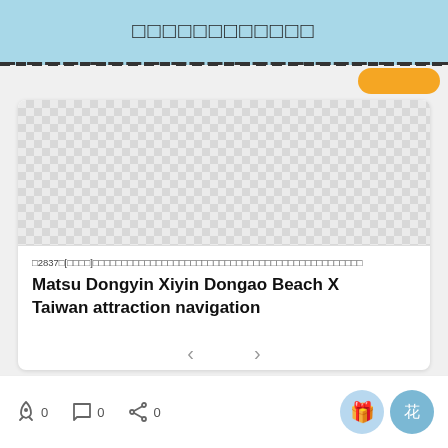□□□□□□□□□□□□
[Figure (screenshot): Checkerboard placeholder image for a travel article]
□2837□[□□□□]□□□□□□□□□□□□□□□□□□□□□□□□□□□□□□□□□□□□□□□□□□□□□
Matsu Dongyin Xiyin Dongao Beach X Taiwan attraction navigation
0  0  0